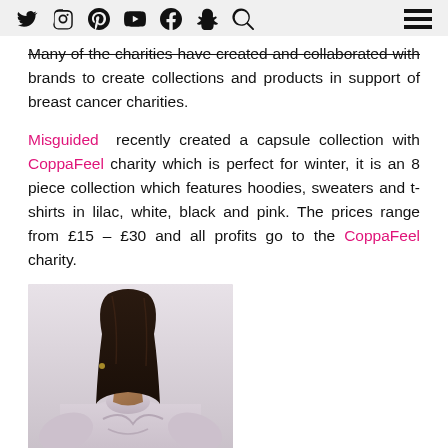Social media navigation icons and hamburger menu
Many of the charities have created and collaborated with brands to create collections and products in support of breast cancer charities.
Misguided recently created a capsule collection with CoppaFeel charity which is perfect for winter, it is an 8 piece collection which features hoodies, sweaters and t-shirts in lilac, white, black and pink. The prices range from £15 – £30 and all profits go to the CoppaFeel charity.
[Figure (photo): A woman wearing a lilac oversized t-shirt from the Misguided x CoppaFeel collection, with a graphic print on the front.]